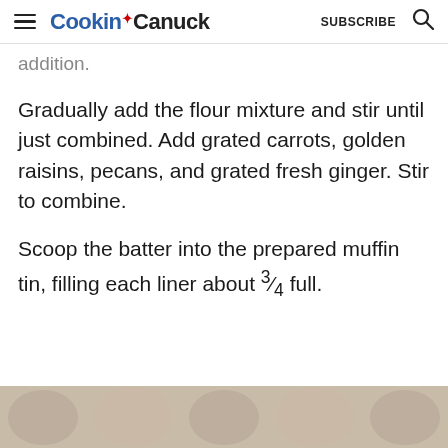Cookin Canuck SUBSCRIBE
addition.
Gradually add the flour mixture and stir until just combined. Add grated carrots, golden raisins, pecans, and grated fresh ginger. Stir to combine.
Scoop the batter into the prepared muffin tin, filling each liner about ¾ full.
[Figure (photo): Bottom strip showing a partial photo of muffins]